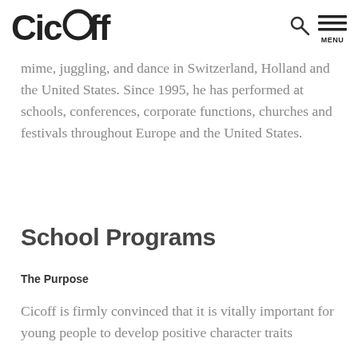CicOff | MENU
mime, juggling, and dance in Switzerland, Holland and the United States. Since 1995, he has performed at schools, conferences, corporate functions, churches and festivals throughout Europe and the United States.
School Programs
The Purpose
Cicoff is firmly convinced that it is vitally important for young people to develop positive character traits